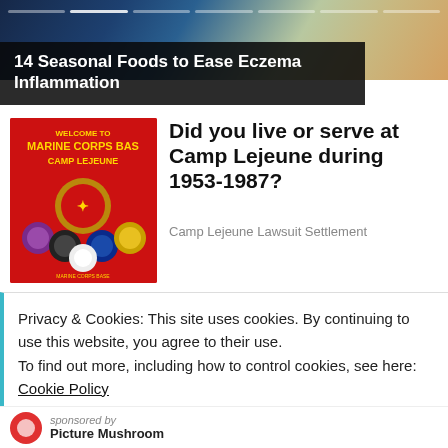[Figure (screenshot): Top banner image showing food on a decorative plate with dark blue background, with a progress bar overlay]
14 Seasonal Foods to Ease Eczema Inflammation
[Figure (illustration): Red Camp Lejeune Marine Corps Base welcome sign with military emblems]
Did you live or serve at Camp Lejeune during 1953-1987?
Camp Lejeune Lawsuit Settlement
Privacy & Cookies: This site uses cookies. By continuing to use this website, you agree to their use.
To find out more, including how to control cookies, see here:
Cookie Policy
Close and accept
sponsored by
Picture Mushroom